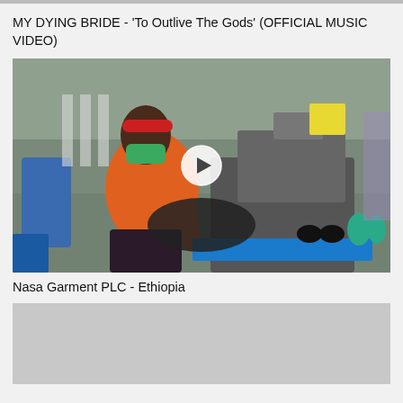MY DYING BRIDE - 'To Outlive The Gods' (OFFICIAL MUSIC VIDEO)
[Figure (photo): Woman wearing red headband and green face mask seated at industrial sewing machine in a factory, with spools of thread visible. A play button overlay is in the center of the image.]
Nasa Garment PLC - Ethiopia
[Figure (photo): Gray/blank thumbnail image at the bottom of the page, partially visible.]